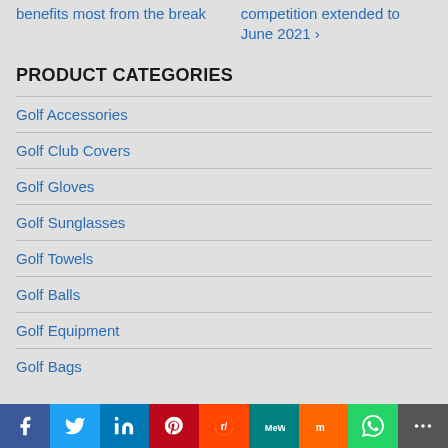benefits most from the break
competition extended to June 2021 ›
PRODUCT CATEGORIES
Golf Accessories
Golf Club Covers
Golf Gloves
Golf Sunglasses
Golf Towels
Golf Balls
Golf Equipment
Golf Bags
[Figure (infographic): Social share bar with Facebook, Twitter, LinkedIn, Pinterest, Reddit, MeWe, Mix, WhatsApp, More buttons]